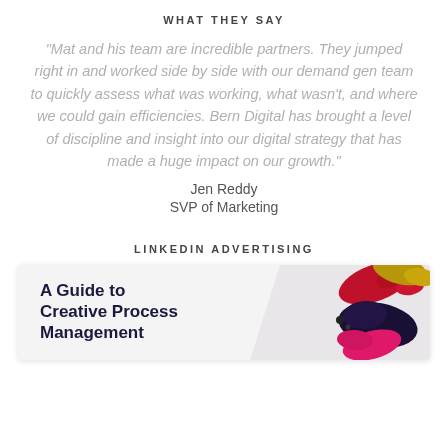WHAT THEY SAY
“Mat and his team are incredible partners. They jumped right in and worked side by side with our demand gen team to quickly assess what was working, what wasn’t, and where we could gain efficiencies. Bern Digital has brought a level of discipline and insight into our digital strategy that has made a huge impact on our growth.”
Jen Reddy
SVP of Marketing
LINKEDIN ADVERTISING
[Figure (illustration): LinkedIn advertising card showing a white/grey background with diagonal grey stripe, bold dark navy text reading 'A Guide to Creative Process Management' on the left, and a colorful paint splash (red, gold, pink, dark purple/black) on the right.]